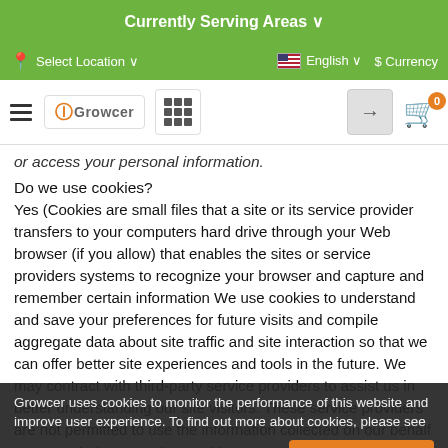Currently Serving Areas ∨
Select Location ∨   English ∨   $ Currency
or access your personal information.
Do we use cookies?
Yes (Cookies are small files that a site or its service provider transfers to your computers hard drive through your Web browser (if you allow) that enables the sites or service providers systems to recognize your browser and capture and remember certain information We use cookies to understand and save your preferences for future visits and compile aggregate data about site traffic and site interaction so that we can offer better site experiences and tools in the future. We may contract with third-party service providers to assist us in better understanding our site visitors. These service providers are not permitted to use the information collected on our behalf except to help us conduct and improve our business.
Do we disclose any information to outside parties?
We do not sell, trade, or otherwise transfer to outside parties your personally identifiable information. This does not include trusted third
Growcer uses cookies to monitor the performance of this website and improve user experience. To find out more about cookies, please see our privacy policy. Read More   Accept Cookies